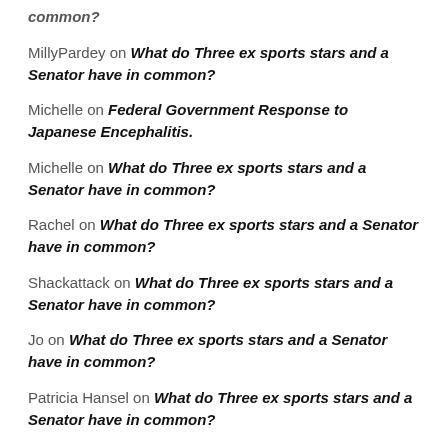common?
MillyPardey on What do Three ex sports stars and a Senator have in common?
Michelle on Federal Government Response to Japanese Encephalitis.
Michelle on What do Three ex sports stars and a Senator have in common?
Rachel on What do Three ex sports stars and a Senator have in common?
Shackattack on What do Three ex sports stars and a Senator have in common?
Jo on What do Three ex sports stars and a Senator have in common?
Patricia Hansel on What do Three ex sports stars and a Senator have in common?
... on What do Three ex sports stars and a Senator have in common?